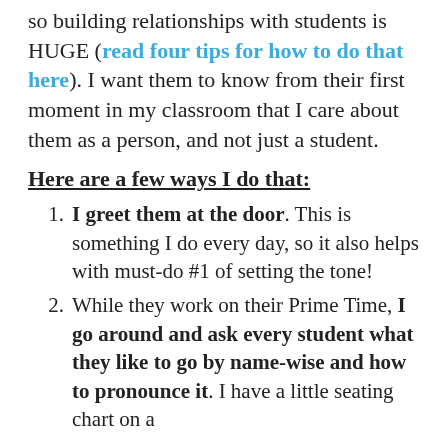so building relationships with students is HUGE (read four tips for how to do that here). I want them to know from their first moment in my classroom that I care about them as a person, and not just a student.
Here are a few ways I do that:
I greet them at the door. This is something I do every day, so it also helps with must-do #1 of setting the tone!
While they work on their Prime Time, I go around and ask every student what they like to go by name-wise and how to pronounce it. I have a little seating chart on a